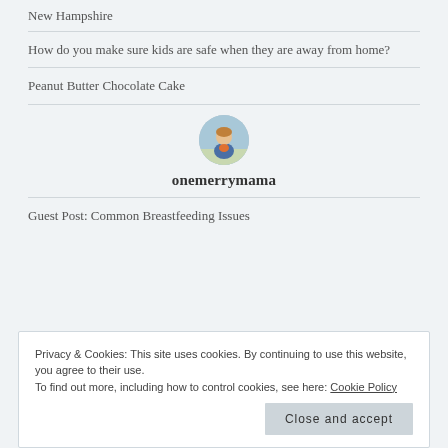New Hampshire
How do you make sure kids are safe when they are away from home?
Peanut Butter Chocolate Cake
[Figure (photo): Circular avatar photo of a person sitting outdoors]
onemerrymama
Guest Post: Common Breastfeeding Issues
Privacy & Cookies: This site uses cookies. By continuing to use this website, you agree to their use.
To find out more, including how to control cookies, see here: Cookie Policy
Close and accept